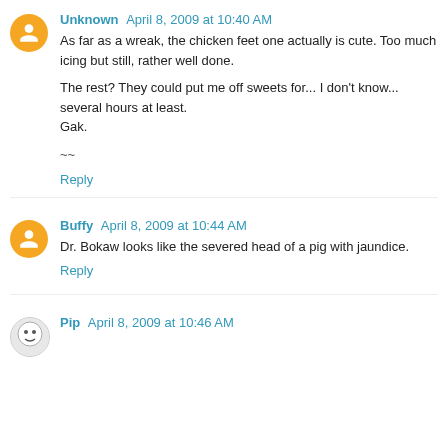Unknown April 8, 2009 at 10:40 AM
As far as a wreak, the chicken feet one actually is cute. Too much icing but still, rather well done.

The rest? They could put me off sweets for... I don't know... several hours at least.
Gak.

~~
Reply
Buffy April 8, 2009 at 10:44 AM
Dr. Bokaw looks like the severed head of a pig with jaundice.
Reply
Pip April 8, 2009 at 10:46 AM